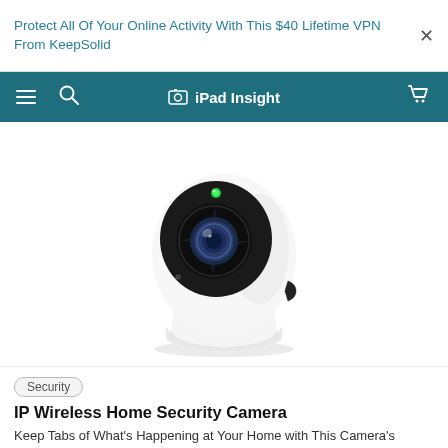Protect All Of Your Online Activity With This $40 Lifetime VPN From KeepSolid
iPad Insight
[Figure (photo): White IP wireless home security camera with pan-tilt design, egg-shaped body, black rotating base with horizontal seam, and front-facing wide-angle lens with green LED indicator on top]
Security
IP Wireless Home Security Camera
Keep Tabs of What's Happening at Your Home with This Camera's